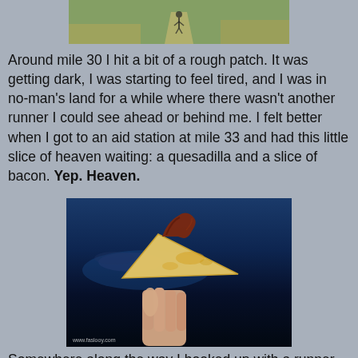[Figure (photo): Runner on a trail path through scrubby grass and brush, viewed from behind, daytime]
Around mile 30 I hit a bit of a rough patch. It was getting dark, I was starting to feel tired, and I was in no-man's land for a while where there wasn't another runner I could see ahead or behind me. I felt better when I got to an aid station at mile 33 and had this little slice of heaven waiting: a quesadilla and a slice of bacon. Yep. Heaven.
[Figure (photo): A hand holding a triangular slice of quesadilla with a strip of bacon on top, photographed against a dark blue twilight sky. Watermark reads www.faslooy.com]
Somewhere along the way I hooked up with a runner named